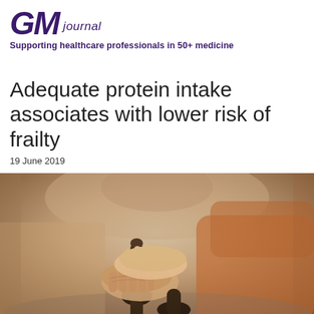GM journal
Supporting healthcare professionals in 50+ medicine
Adequate protein intake associates with lower risk of frailty
19 June 2019
[Figure (photo): Close-up photograph of an elderly person's hands resting on a walking cane, with another person's hand placed on top. The elderly person is wearing an orange/rust-coloured garment. The background is soft and blurred in warm tones.]